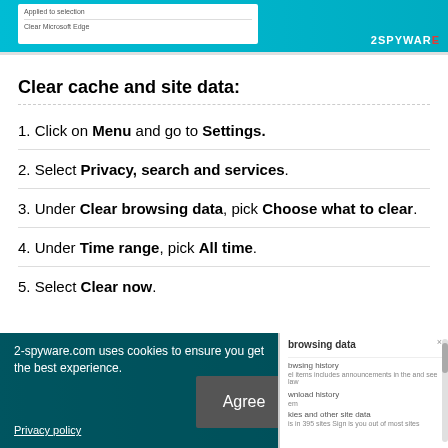[Figure (screenshot): Top portion of a browser settings screenshot with teal background and white panel showing 'Clear Microsoft Edge' option, with 2SPYWARE watermark]
Clear cache and site data:
1. Click on Menu and go to Settings.
2. Select Privacy, search and services.
3. Under Clear browsing data, pick Choose what to clear.
4. Under Time range, pick All time.
5. Select Clear now.
[Figure (screenshot): Bottom overlay showing cookie consent notice from 2-spyware.com, Agree button, and browser Clear browsing data panel with options including browsing history, download history, cookies and other site data]